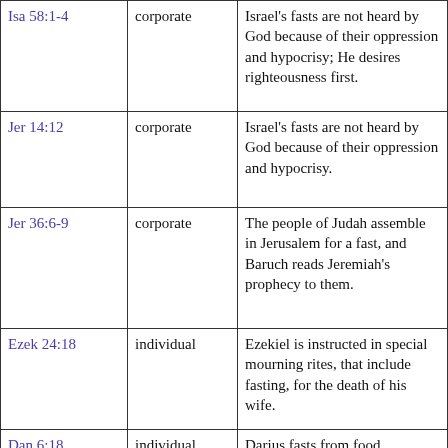| Reference | Type | Description |
| --- | --- | --- |
| Isa 58:1-4 | corporate | Israel's fasts are not heard by God because of their oppression and hypocrisy; He desires righteousness first. |
| Jer 14:12 | corporate | Israel's fasts are not heard by God because of their oppression and hypocrisy. |
| Jer 36:6-9 | corporate | The people of Judah assemble in Jerusalem for a fast, and Baruch reads Jeremiah's prophecy to them. |
| Ezek 24:18 | individual | Ezekiel is instructed in special mourning rites, that include fasting, for the death of his wife. |
| Dan 6:18 | individual | Darius fasts from food, entertainment, and sleep through the night while worrying for Daniel in the lion's den. |
| Dan 9:3 | individual | Daniel fasts, confessing Israel's sin, upon reading Jeremiah's prophecy of the seventy weeks. |